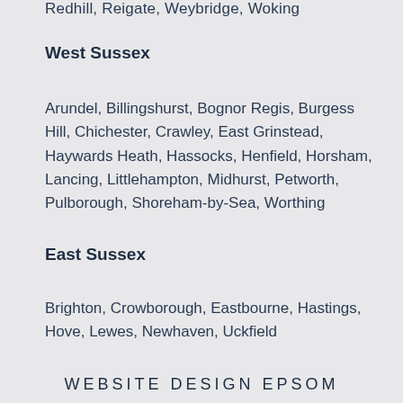Redhill, Reigate, Weybridge, Woking
West Sussex
Arundel, Billingshurst, Bognor Regis, Burgess Hill, Chichester, Crawley, East Grinstead, Haywards Heath, Hassocks, Henfield, Horsham, Lancing, Littlehampton, Midhurst, Petworth, Pulborough, Shoreham-by-Sea, Worthing
East Sussex
Brighton, Crowborough, Eastbourne, Hastings, Hove, Lewes, Newhaven, Uckfield
WEBSITE DESIGN EPSOM